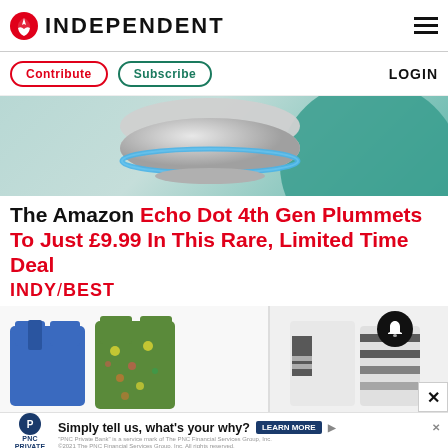INDEPENDENT
Contribute | Subscribe | LOGIN
[Figure (photo): Amazon Echo Dot 4th Gen smart speaker on teal background]
The Amazon Echo Dot 4th Gen Plummets To Just £9.99 In This Rare, Limited Time Deal
INDY/BEST
[Figure (photo): Clothing items: blue jacket, floral top, striped and denim shirts]
Simply tell us, what's your why? LEARN MORE | PNC PRIVATE BANK — "PNC Private Bank" is a service mark of The PNC Financial Services Group, Inc. ©2021 The PNC Financial Services Group, Inc. All rights reserved.